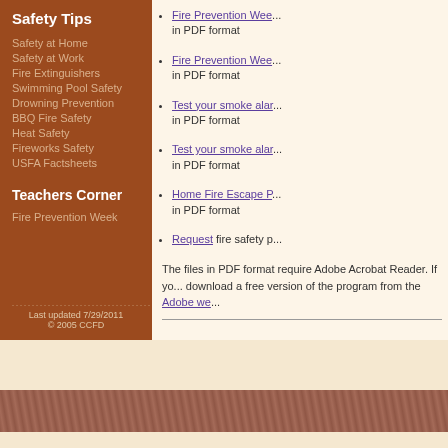Safety Tips
Safety at Home
Safety at Work
Fire Extinguishers
Swimming Pool Safety
Drowning Prevention
BBQ Fire Safety
Heat Safety
Fireworks Safety
USFA Factsheets
Teachers Corner
Fire Prevention Week
Last updated 7/29/2011
© 2005 CCFD
Fire Prevention Wee... in PDF format
Fire Prevention Wee... in PDF format
Test your smoke alar... in PDF format
Test your smoke alar... in PDF format
Home Fire Escape P... in PDF format
Request fire safety p...
The files in PDF format require Adobe Acrobat Reader. If yo... download a free version of the program from the Adobe we...